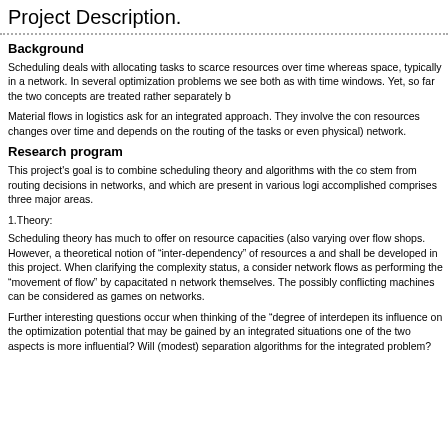Project Description.
Background
Scheduling deals with allocating tasks to scarce resources over time whereas space, typically in a network. In several optimization problems we see both as with time windows. Yet, so far the two concepts are treated rather separately b
Material flows in logistics ask for an integrated approach. They involve the con resources changes over time and depends on the routing of the tasks or even physical) network.
Research program
This project's goal is to combine scheduling theory and algorithms with the co stem from routing decisions in networks, and which are present in various logi accomplished comprises three major areas.
1.Theory:
Scheduling theory has much to offer on resource capacities (also varying over flow shops. However, a theoretical notion of “inter-dependency” of resources a and shall be developed in this project. When clarifying the complexity status, a consider network flows as performing the “movement of flow” by capacitated n network themselves. The possibly conflicting machines can be considered as games on networks.
Further interesting questions occur when thinking of the “degree of interdepen its influence on the optimization potential that may be gained by an integrated situations one of the two aspects is more influential? Will (modest) separation algorithms for the integrated problem?